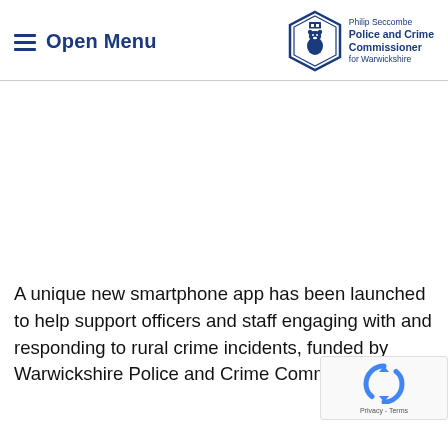Open Menu | Philip Seccombe Police and Crime Commissioner for Warwickshire
[Figure (logo): Warwickshire Police and Crime Commissioner badge logo - blue diamond/star shape with crown and bear emblem]
A unique new smartphone app has been launched to help support officers and staff engaging with and responding to rural crime incidents, funded by Warwickshire Police and Crime Commissioner P...